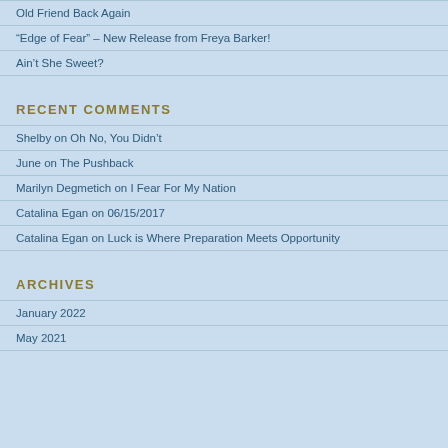Old Friend Back Again
“Edge of Fear” – New Release from Freya Barker!
Ain’t She Sweet?
RECENT COMMENTS
Shelby on Oh No, You Didn’t
June on The Pushback
Marilyn Degmetich on I Fear For My Nation
Catalina Egan on 06/15/2017
Catalina Egan on Luck is Where Preparation Meets Opportunity
ARCHIVES
January 2022
May 2021